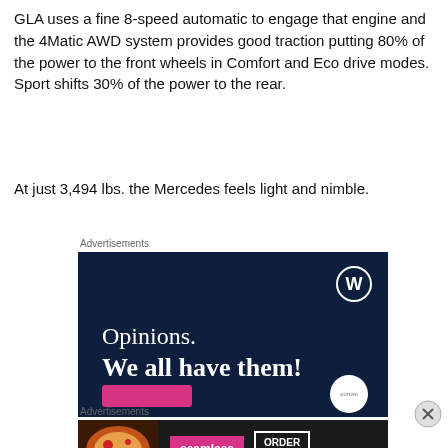GLA uses a fine 8-speed automatic to engage that engine and the 4Matic AWD system provides good traction putting 80% of the power to the front wheels in Comfort and Eco drive modes. Sport shifts 30% of the power to the rear.
At just 3,494 lbs. the Mercedes feels light and nimble.
Advertisements
[Figure (illustration): WordPress advertisement banner with dark navy background, WordPress logo (W in circle) top right, text 'Opinions. We all have them!' in white, pink button bottom left, white circle bottom right with 'рonwe' text]
Advertisements
[Figure (illustration): Seamless food delivery advertisement with pizza image on left, pink 'seamless' button in center, white bordered 'ORDER NOW' button on right, dark background]